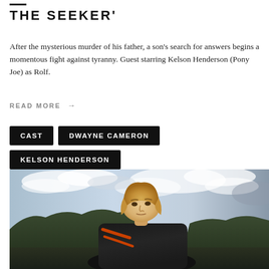THE SEEKER'
After the mysterious murder of his father, a son's search for answers begins a momentous fight against tyranny. Guest starring Kelson Henderson (Pony Joe) as Rolf.
READ MORE →
CAST
DWAYNE CAMERON
KELSON HENDERSON
[Figure (photo): A young blonde man in a dark jacket with orange accents, photographed outdoors against a cloudy sky with trees in the background.]